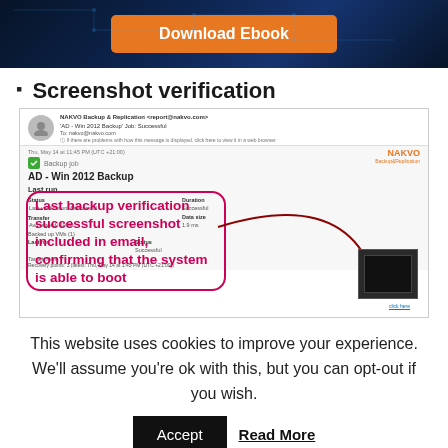[Figure (screenshot): Dark blue circuit-board background banner with an orange 'Download Ebook' button centered]
Screenshot verification
[Figure (screenshot): Screenshot of NAKVO Backup & Replication email notification for 'AD - Win 2012 Backup' job showing successful backup verification with annotation overlay: 'Last backup verification successful screenshot included in email, confirming that the system is able to boot' with arrow pointing to thumbnail]
This website uses cookies to improve your experience. We'll assume you're ok with this, but you can opt-out if you wish.
Accept
Read More